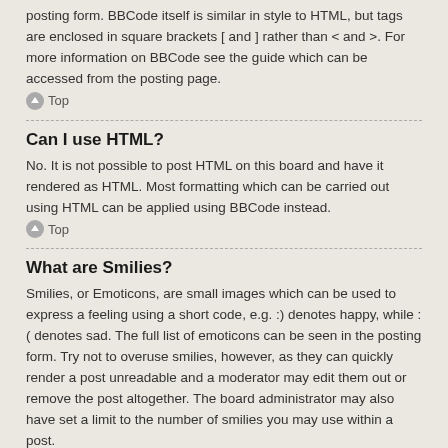posting form. BBCode itself is similar in style to HTML, but tags are enclosed in square brackets [ and ] rather than < and >. For more information on BBCode see the guide which can be accessed from the posting page.
↑ Top
Can I use HTML?
No. It is not possible to post HTML on this board and have it rendered as HTML. Most formatting which can be carried out using HTML can be applied using BBCode instead.
↑ Top
What are Smilies?
Smilies, or Emoticons, are small images which can be used to express a feeling using a short code, e.g. :) denotes happy, while :( denotes sad. The full list of emoticons can be seen in the posting form. Try not to overuse smilies, however, as they can quickly render a post unreadable and a moderator may edit them out or remove the post altogether. The board administrator may also have set a limit to the number of smilies you may use within a post.
↑ Top